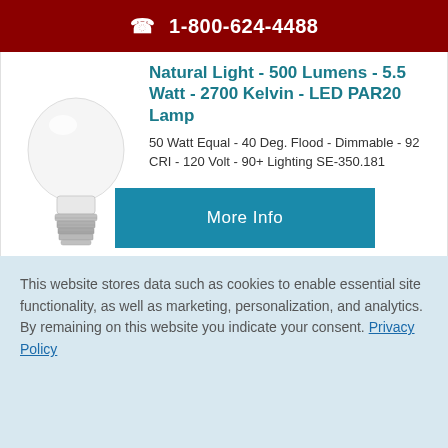1-800-624-4488
[Figure (photo): LED PAR20 lamp bulb product photo, white bulb with silver base]
PLT-11818
Natural Light - 500 Lumens - 5.5 Watt - 2700 Kelvin - LED PAR20 Lamp
50 Watt Equal - 40 Deg. Flood - Dimmable - 92 CRI - 120 Volt - 90+ Lighting SE-350.181
$3.97 ea.
More Info
This website stores data such as cookies to enable essential site functionality, as well as marketing, personalization, and analytics. By remaining on this website you indicate your consent. Privacy Policy